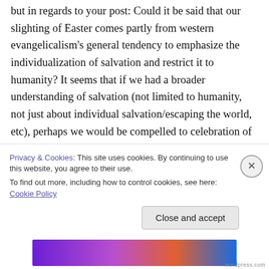but in regards to your post: Could it be said that our slighting of Easter comes partly from western evangelicalism's general tendency to emphasize the individualization of salvation and restrict it to humanity? It seems that if we had a broader understanding of salvation (not limited to humanity, not just about individual salvation/escaping the world, etc), perhaps we would be compelled to celebration of a larger scale? I'm thinking that we need to not just extend the celebration of Easter or add more
Privacy & Cookies: This site uses cookies. By continuing to use this website, you agree to their use.
To find out more, including how to control cookies, see here: Cookie Policy